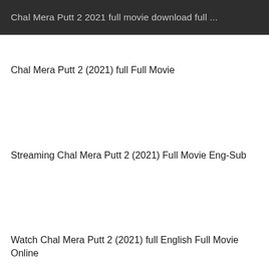Chal Mera Putt 2 2021 full movie download full ...
Chal Mera Putt 2 (2021) full Full Movie
Streaming Chal Mera Putt 2 (2021) Full Movie Eng-Sub
Watch Chal Mera Putt 2 (2021) full English Full Movie Online